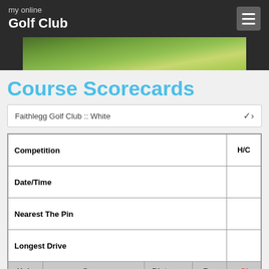my online Golf Club
[Figure (photo): Golf course fairway with green grass and trees]
Course Scorecards
Faithlegg Golf Club :: White
| Competition | H/C | Date/Time |  | Nearest The Pin |  | Longest Drive |  | Hole | Score | Distance | Par | SI |
| --- | --- | --- | --- | --- | --- | --- | --- | --- | --- | --- | --- | --- |
| Competition |  | H/C |
| Date/Time |  |
| Nearest The Pin |  |
| Longest Drive |  |
| Hole | Score | Distance | Par | SI |
| 1 |  | 280 | 4 | 18 |